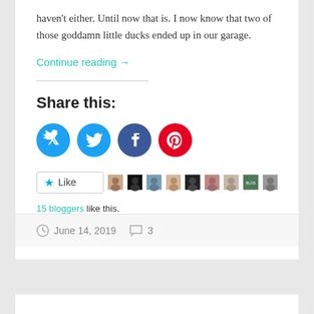haven't either. Until now that is. I now know that two of those goddamn little ducks ended up in our garage.
Continue reading →
Share this:
[Figure (other): Social share buttons: Twitter (blue circle), Facebook (blue circle), Pinterest (red circle)]
[Figure (other): Like button with star icon and 9 blogger avatar thumbnails]
15 bloggers like this.
June 14, 2019   3